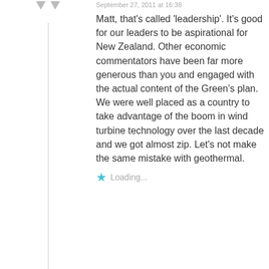September 27, 2011 at 16:38
Matt, that’s called ‘leadership’. It’s good for our leaders to be aspirational for New Zealand. Other economic commentators have been far more generous than you and engaged with the actual content of the Green’s plan.
We were well placed as a country to take advantage of the boom in wind turbine technology over the last decade and we got almost zip. Let’s not make the same mistake with geothermal.
Loading...